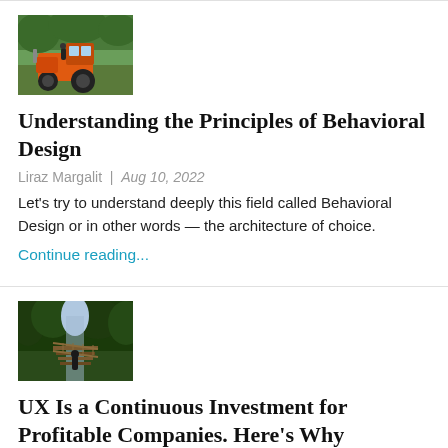[Figure (photo): Orange tractor/vehicle in green outdoor setting with people]
Understanding the Principles of Behavioral Design
Liraz Margalit | Aug 10, 2022
Let's try to understand deeply this field called Behavioral Design or in other words — the architecture of choice.
Continue reading...
[Figure (photo): Person walking on a suspended rope bridge through dense forest]
UX Is a Continuous Investment for Profitable Companies. Here's Why
Michael Mathias | Aug 5, 2022